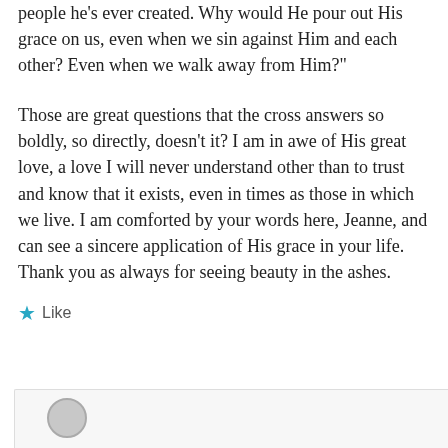people he’s ever created. Why would He pour out His grace on us, even when we sin against Him and each other? Even when we walk away from Him?”
Those are great questions that the cross answers so boldly, so directly, doesn’t it? I am in awe of His great love, a love I will never understand other than to trust and know that it exists, even in times as those in which we live. I am comforted by your words here, Jeanne, and can see a sincere application of His grace in your life. Thank you as always for seeing beauty in the ashes.
★ Like